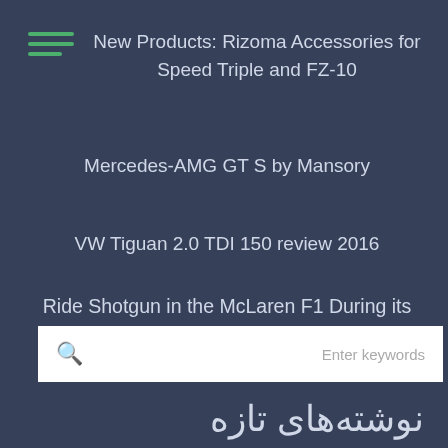New Products: Rizoma Accessories for Speed Triple and FZ-10
Mercedes-AMG GT S by Mansory
VW Tiguan 2.0 TDI 150 review 2016
Ride Shotgun in the McLaren F1 During its Record-Breaking Run in 1998
Enter keywords
نوشته‌های تازه